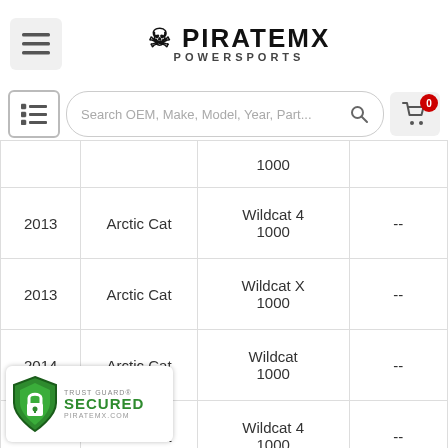Pirate MX Powersports — navigation header with logo, search bar, menu and cart
| Year | Make | Model | Notes |
| --- | --- | --- | --- |
|  |  | 1000 |  |
| 2013 | Arctic Cat | Wildcat 4 1000 | -- |
| 2013 | Arctic Cat | Wildcat X 1000 | -- |
| 2014 | Arctic Cat | Wildcat 1000 | -- |
| 2014 | Arctic Cat | Wildcat 4 1000 | -- |
|  | ic Cat | Wildcat 4 1000 | Limited |
|  |  |  |  |